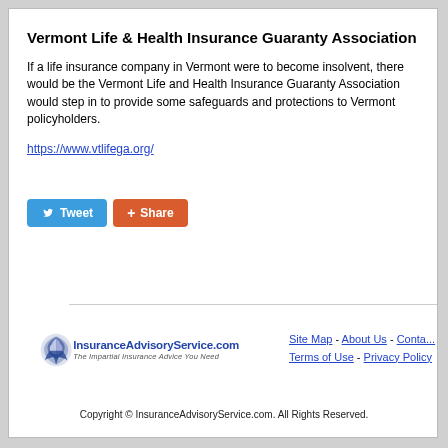Vermont Life & Health Insurance Guaranty Association
If a life insurance company in Vermont were to become insolvent, there would be the Vermont Life and Health Insurance Guaranty Association would step in to provide some safeguards and protections to Vermont policyholders.
https://www.vtlifega.org/
[Figure (other): Tweet and Share social media buttons]
[Figure (logo): InsuranceAdvisoryService.com logo with eagle graphic and tagline 'The Impartial Insurance Advice You Need']
Site Map - About Us - Contact - Terms of Use - Privacy Policy
Copyright © InsuranceAdvisoryService.com. All Rights Reserved.